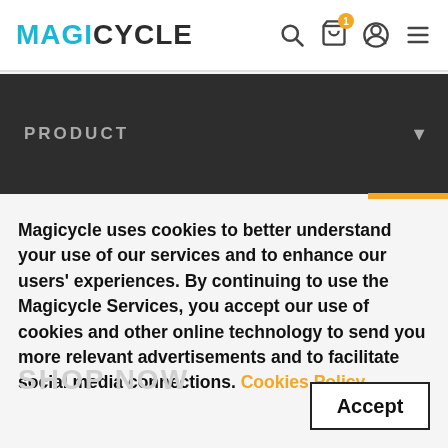MAGICYCLE
PRODUCT
Magicycle uses cookies to better understand your use of our services and to enhance our users' experiences. By continuing to use the Magicycle Services, you accept our use of cookies and other online technology to send you more relevant advertisements and to facilitate social media connections. Cookies Policy
Accept